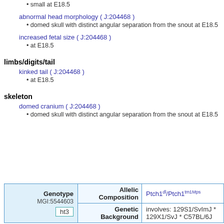small at E18.5
abnormal head morphology ( J:204468 )
domed skull with distinct angular separation from the snout at E18.5
increased fetal size ( J:204468 )
at E18.5
limbs/digits/tail
kinked tail ( J:204468 )
at E18.5
skeleton
domed cranium ( J:204468 )
domed skull with distinct angular separation from the snout at E18.5
| Genotype | Allelic Composition |  |
| --- | --- | --- |
| MGI:5544603
ht3 | Ptch1dl/Ptch1tm1Mps |  |
|  | Genetic Background | involves: 129S1/SvImJ * 129X1/SvJ * C57BL/6J |